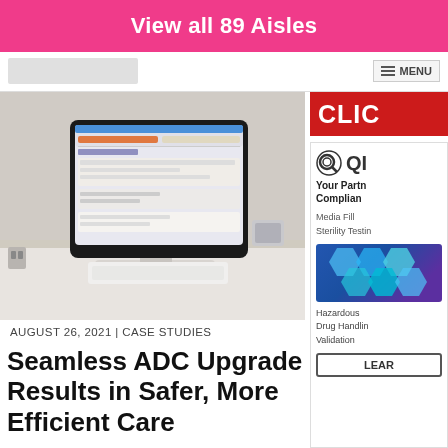View all 89 Aisles
MENU
[Figure (photo): A tablet/touchscreen computer on a stand with a white keyboard on a desk, showing pharmacy or medical software on the screen.]
AUGUST 26, 2021 | CASE STUDIES
Seamless ADC Upgrade Results in Safer, More Efficient Care
[Figure (other): Sidebar advertisement — partially visible red banner with 'CLIC' text, and below it a QI company ad with logo, tagline 'Your Partner in Compliance', services including Media Fill, Sterility Testing, Hazardous Drug Handling, Validation, and a LEARN button.]